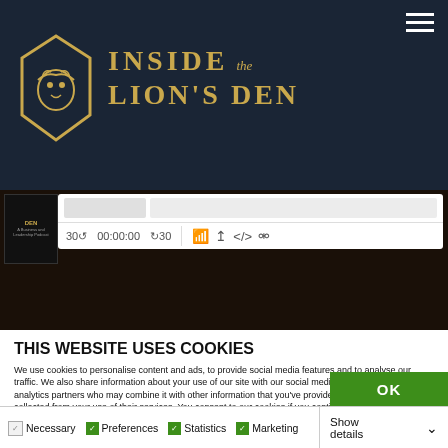[Figure (screenshot): Inside the Lion's Den podcast website header with dark navy background, gold lion logo icon, and gold text reading INSIDE the LION'S DEN]
[Figure (screenshot): Podcast audio player with progress bar, timestamp 00:00:00, and playback control icons including 30-second rewind, 30-second forward, stream, download, embed, and accessibility buttons]
THIS WEBSITE USES COOKIES
We use cookies to personalise content and ads, to provide social media features and to analyse our traffic. We also share information about your use of our site with our social media, advertising and analytics partners who may combine it with other information that you've provided to them or that they've collected from your use of their services. You consent to our cookies if you continue to use our website.
OK
Necessary  Preferences  Statistics  Marketing  Show details